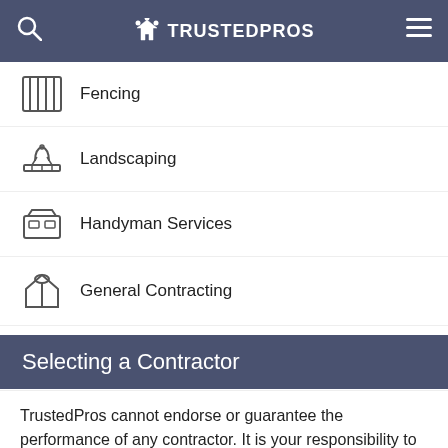TRUSTEDPROS
Fencing
Landscaping
Handyman Services
General Contracting
Carpentry
Selecting a Contractor
TrustedPros cannot endorse or guarantee the performance of any contractor. It is your responsibility to interview and select your contractor carefully by checking